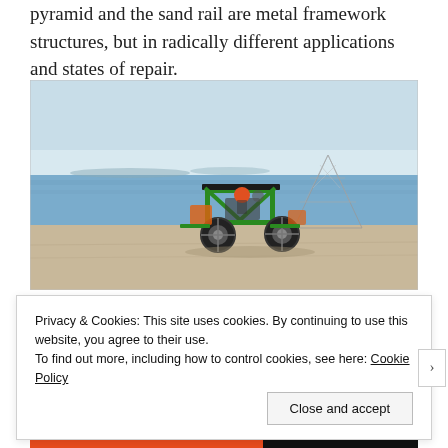pyramid and the sand rail are metal framework structures, but in radically different applications and states of repair.
[Figure (photo): A green off-road dune buggy / sand rail driving on a sandy beach near the water's edge. In the background is a metallic pyramid-like wire framework structure. The sky is pale blue and the water is calm.]
Privacy & Cookies: This site uses cookies. By continuing to use this website, you agree to their use.
To find out more, including how to control cookies, see here: Cookie Policy